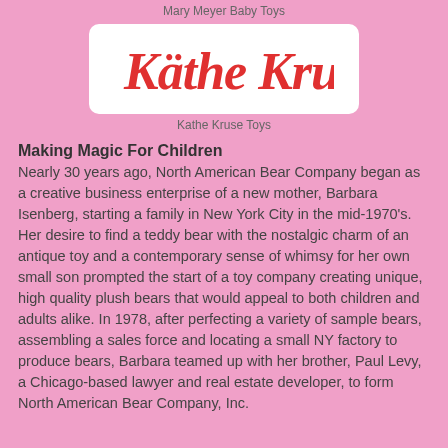Mary Meyer Baby Toys
[Figure (logo): Käthe Kruse logo in red script font on white rounded rectangle background]
Kathe Kruse Toys
Making Magic For Children
Nearly 30 years ago, North American Bear Company began as a creative business enterprise of a new mother, Barbara Isenberg, starting a family in New York City in the mid-1970's. Her desire to find a teddy bear with the nostalgic charm of an antique toy and a contemporary sense of whimsy for her own small son prompted the start of a toy company creating unique, high quality plush bears that would appeal to both children and adults alike. In 1978, after perfecting a variety of sample bears, assembling a sales force and locating a small NY factory to produce bears, Barbara teamed up with her brother, Paul Levy, a Chicago-based lawyer and real estate developer, to form North American Bear Company, Inc.